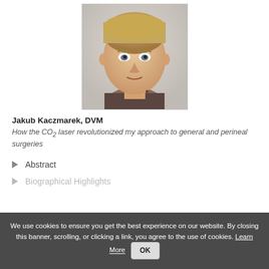[Figure (photo): Headshot portrait of Jakub Kaczmarek, DVM — a young blond man facing the camera, wearing a dark shirt with a necklace, photographed against a light background.]
Jakub Kaczmarek, DVM
How the CO2 laser revolutionized my approach to general and perineal surgeries
Abstract
Biographical Highlights
We use cookies to ensure you get the best experience on our website. By closing this banner, scrolling, or clicking a link, you agree to the use of cookies. Learn More OK